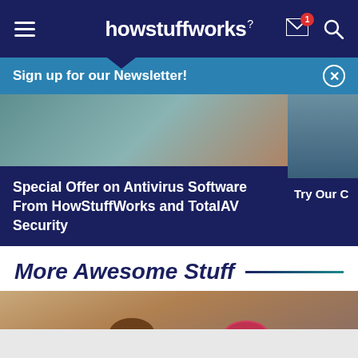howstuffworks
Sign up for our Newsletter!
[Figure (screenshot): Partial photo visible above card strip, showing indoor scene]
Special Offer on Antivirus Software From HowStuffWorks and TotalAV Security
Try Our C
More Awesome Stuff
[Figure (photo): Two people facing each other: young man with curly hair on left, woman with pink/red hair on right, against tan background]